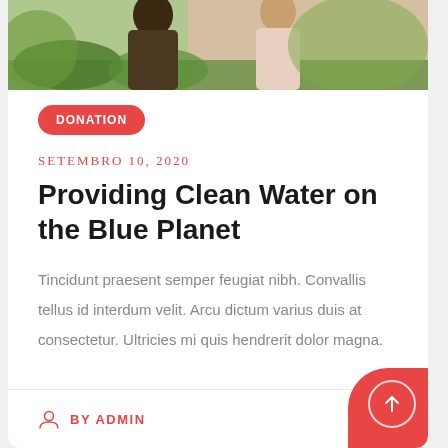[Figure (photo): Photo of two people outdoors with green foliage in the background, partially cropped at top]
DONATION
SETEMBRO 10, 2020
Providing Clean Water on the Blue Planet
Tincidunt praesent semper feugiat nibh. Convallis tellus id interdum velit. Arcu dictum varius duis at consectetur. Ultricies mi quis hendrerit dolor magna.
BY ADMIN